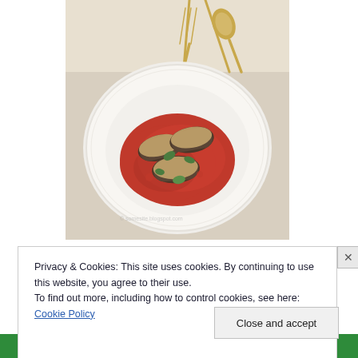[Figure (photo): A white ceramic bowl/plate containing eggplant rolls topped with breadcrumbs and herbs in red tomato sauce, placed on a light linen cloth with gold fork and spoon visible in the top background.]
Privacy & Cookies: This site uses cookies. By continuing to use this website, you agree to their use.
To find out more, including how to control cookies, see here: Cookie Policy
Close and accept